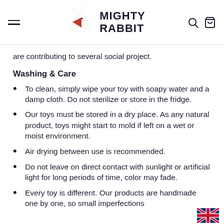Mighty Rabbit — navigation header with logo
are contributing to several social project.
Washing & Care
To clean, simply wipe your toy with soapy water and a damp cloth. Do not sterilize or store in the fridge.
Our toys must be stored in a dry place. As any natural product, toys might start to mold if left on a wet or moist environment.
Air drying between use is recommended.
Do not leave on direct contact with sunlight or artificial light for long periods of time, color may fade.
Every toy is different. Our products are handmade one by one, so small imperfections